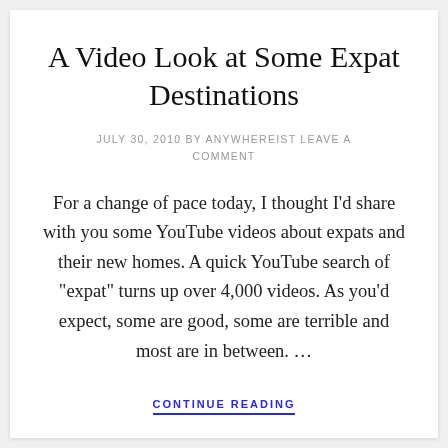A Video Look at Some Expat Destinations
JULY 30, 2010 BY ANYWHEREIST LEAVE A COMMENT
For a change of pace today, I thought I'd share with you some YouTube videos about expats and their new homes. A quick YouTube search of "expat" turns up over 4,000 videos. As you'd expect, some are good, some are terrible and most are in between. …
CONTINUE READING